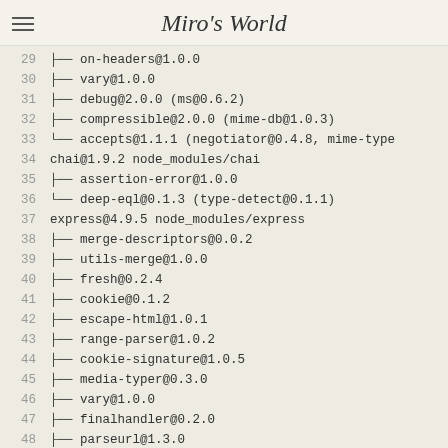Miro's World
29  ├── on-headers@1.0.0
30  ├── vary@1.0.0
31  ├── debug@2.0.0 (ms@0.6.2)
32  ├── compressible@2.0.0 (mime-db@1.0.3)
33  └── accepts@1.1.1 (negotiator@0.4.8, mime-type
34  chai@1.9.2 node_modules/chai
35  ├── assertion-error@1.0.0
36  └── deep-eql@0.1.3 (type-detect@0.1.1)
37  express@4.9.5 node_modules/express
38  ├── merge-descriptors@0.0.2
39  ├── utils-merge@1.0.0
40  ├── fresh@0.2.4
41  ├── cookie@0.1.2
42  ├── escape-html@1.0.1
43  ├── range-parser@1.0.2
44  ├── cookie-signature@1.0.5
45  ├── media-typer@0.3.0
46  ├── vary@1.0.0
47  ├── finalhandler@0.2.0
48  ├── parseurl@1.3.0